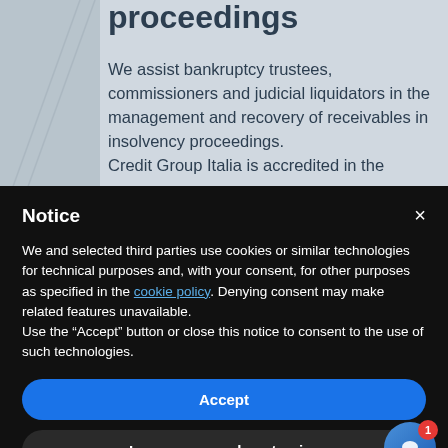proceedings
We assist bankruptcy trustees, commissioners and judicial liquidators in the management and recovery of receivables in insolvency proceedings. Credit Group Italia is accredited in the
Notice
We and selected third parties use cookies or similar technologies for technical purposes and, with your consent, for other purposes as specified in the cookie policy. Denying consent may make related features unavailable.
Use the “Accept” button or close this notice to consent to the use of such technologies.
Accept
Learn more and customize